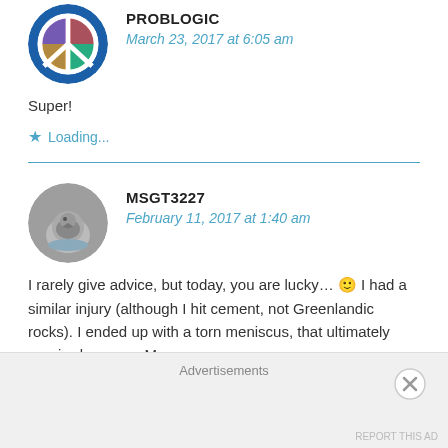[Figure (illustration): Circular avatar with peace sign made of colorful flags on blue background]
PROBLOGIC
March 23, 2017 at 6:05 am
Super!
Loading...
[Figure (photo): Circular avatar showing a bird on a gray background]
MSGT3227
February 11, 2017 at 1:40 am
I rarely give advice, but today, you are lucky... 🙂 I had a similar injury (although I hit cement, not Greenlandic rocks). I ended up with a torn meniscus, that ultimately required surgery. My
Advertisements